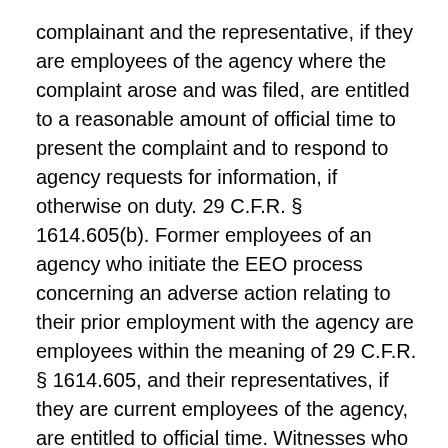complainant and the representative, if they are employees of the agency where the complaint arose and was filed, are entitled to a reasonable amount of official time to present the complaint and to respond to agency requests for information, if otherwise on duty. 29 C.F.R. § 1614.605(b). Former employees of an agency who initiate the EEO process concerning an adverse action relating to their prior employment with the agency are employees within the meaning of 29 C.F.R. § 1614.605, and their representatives, if they are current employees of the agency, are entitled to official time. Witnesses who are federal employees, regardless of whether they are employed by the respondent agency or some other federal agency, shall be in a duty status when their presence is authorized or required by Commission or agency officials in connection with the complaint.
1. Reasonable Amount of Official Time